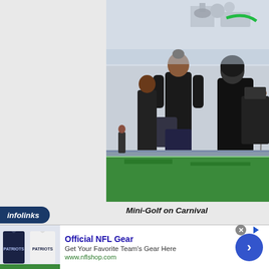[Figure (photo): People playing mini-golf on the deck of a Carnival cruise ship, viewed from behind. The green putting surface is visible, along with ship equipment and ocean in the background.]
Mini-Golf on Carnival
[Figure (screenshot): An advertisement banner for Official NFL Gear showing NFL jerseys on the left, bold blue headline 'Official NFL Gear', body text 'Get Your Favorite Team's Gear Here', URL 'www.nflshop.com' in green, a blue circular arrow button on the right, and an 'infolinks' badge in the upper left corner.]